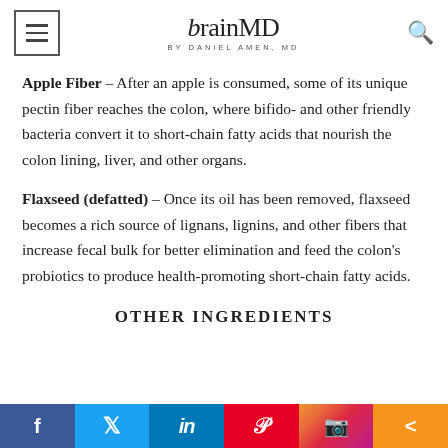brainMD by Daniel Amen, MD
Apple Fiber – After an apple is consumed, some of its unique pectin fiber reaches the colon, where bifido- and other friendly bacteria convert it to short-chain fatty acids that nourish the colon lining, liver, and other organs.
Flaxseed (defatted) – Once its oil has been removed, flaxseed becomes a rich source of lignans, lignins, and other fibers that increase fecal bulk for better elimination and feed the colon's probiotics to produce health-promoting short-chain fatty acids.
OTHER INGREDIENTS